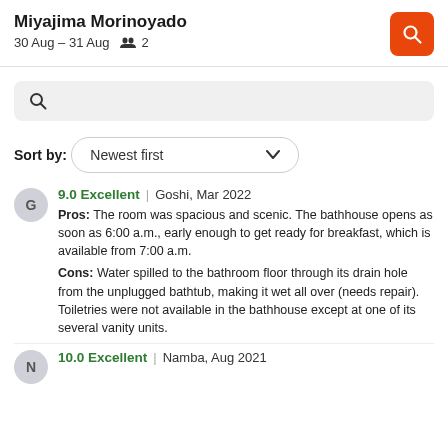Miyajima Morinoyado
30 Aug – 31 Aug  2
[Figure (screenshot): Search bar input field with magnifying glass icon on gray background]
Sort by:
[Figure (screenshot): Dropdown selector showing 'Newest first' with chevron down arrow]
9.0 Excellent | Goshi, Mar 2022
Pros: The room was spacious and scenic. The bathhouse opens as soon as 6:00 a.m., early enough to get ready for breakfast, which is available from 7:00 a.m.
Cons: Water spilled to the bathroom floor through its drain hole from the unplugged bathtub, making it wet all over (needs repair). Toiletries were not available in the bathhouse except at one of its several vanity units.
10.0 Excellent | Namba, Aug 2021